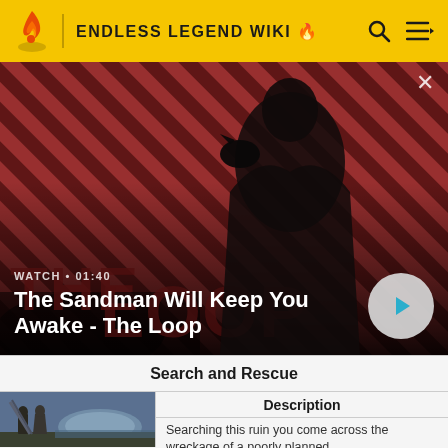ENDLESS LEGEND WIKI
[Figure (screenshot): Video banner showing The Sandman Will Keep You Awake - The Loop with a figure in dark clothing and a crow, striped red/dark background. Shows WATCH • 01:40 label and play button.]
Search and Rescue
[Figure (screenshot): Game screenshot showing two figures in a ruined environment with dome structure in background]
Description
Searching this ruin you come across the wreckage of a poorly planned